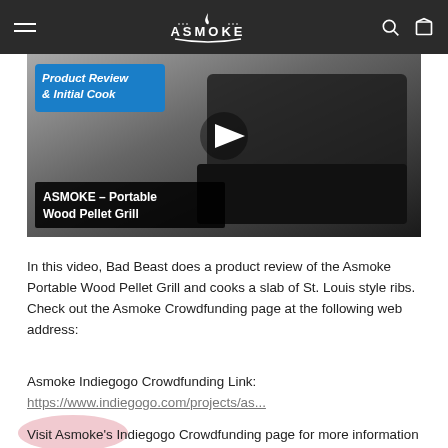ASMOKE
[Figure (screenshot): Video thumbnail showing ASMOKE Portable Wood Pellet Grill product review. Blue label reads 'Product Review & Initial Cook', black title box reads 'ASMOKE – Portable Wood Pellet Grill', play button in center.]
In this video, Bad Beast does a product review of the Asmoke Portable Wood Pellet Grill and cooks a slab of St. Louis style ribs. Check out the Asmoke Crowdfunding page at the following web address:
Asmoke Indiegogo Crowdfunding Link:
https://www.indiegogo.com/projects/as...
Visit Asmoke's Indiegogo Crowdfunding page for more information behind their technology and features